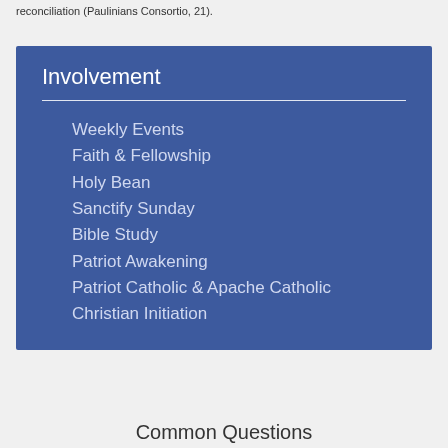reconciliation (Paulinians Consortio, 21).
Involvement
Weekly Events
Faith & Fellowship
Holy Bean
Sanctify Sunday
Bible Study
Patriot Awakening
Patriot Catholic & Apache Catholic
Christian Initiation
Common Questions